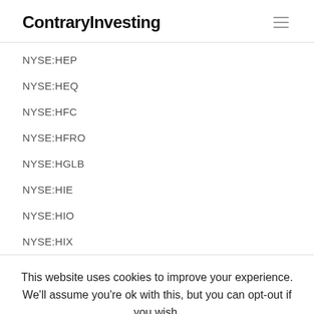ContraryInvesting
NYSE:HEP
NYSE:HEQ
NYSE:HFC
NYSE:HFRO
NYSE:HGLB
NYSE:HIE
NYSE:HIO
NYSE:HIX
This website uses cookies to improve your experience. We'll assume you're ok with this, but you can opt-out if you wish. Cookie settings ACCEPT